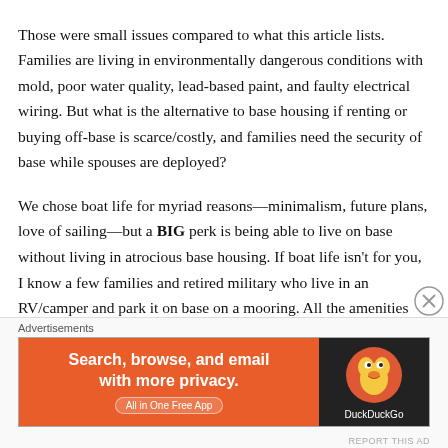Those were small issues compared to what this article lists. Families are living in environmentally dangerous conditions with mold, poor water quality, lead-based paint, and faulty electrical wiring. But what is the alternative to base housing if renting or buying off-base is scarce/costly, and families need the security of base while spouses are deployed?
We chose boat life for myriad reasons—minimalism, future plans, love of sailing—but a BIG perk is being able to live on base without living in atrocious base housing. If boat life isn't for you, I know a few families and retired military who live in an RV/camper and park it on base on a mooring. All the amenities like th…
Advertisements
[Figure (other): DuckDuckGo advertisement banner: orange left panel with text 'Search, browse, and email with more privacy. All in One Free App' and dark right panel with DuckDuckGo logo and name.]